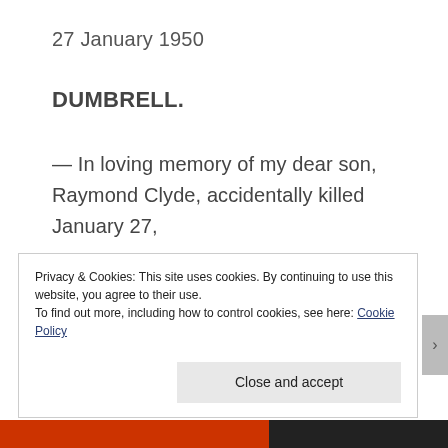27 January 1950
DUMBRELL.
— In loving memory of my dear son, Raymond Clyde, accidentally killed January 27,
1936
Privacy & Cookies: This site uses cookies. By continuing to use this website, you agree to their use.
To find out more, including how to control cookies, see here: Cookie Policy
Close and accept